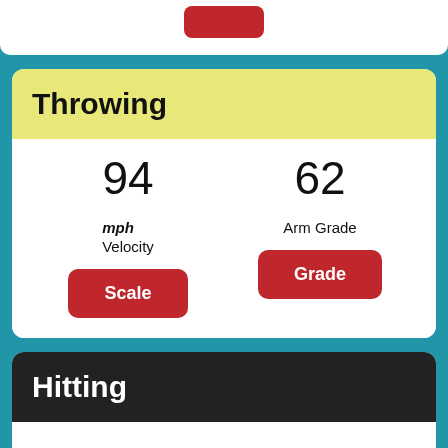[Figure (screenshot): Top white strip with a red button at top]
Throwing
94
62
mph
Velocity
Arm Grade
Scale
Grade
Hitting
55
58